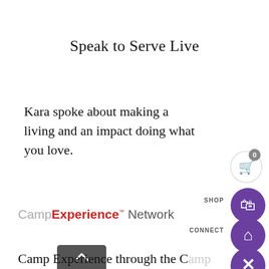Speak to Serve Live
Kara spoke about making a living and an impact doing what you love.
[Figure (screenshot): Shopping cart icon with '0' badge, purple SHOP button with bag icon, purple CONNECT button with home icon, purple close X button, Camp Experience Network logo, dark scroll-up box, and bottom text 'Camp Experience through the Camp']
Camp Experience through the Camp